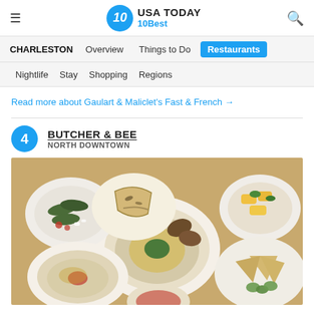USA TODAY 10Best
CHARLESTON  Overview  Things to Do  Restaurants  Nightlife  Stay  Shopping  Regions
Read more about Gaulart & Maliclet's Fast & French →
4 BUTCHER & BEE NORTH DOWNTOWN
[Figure (photo): Overhead shot of multiple plates of Middle Eastern / Mediterranean food including dolmades, hummus, falafel, pita bread, and other mezze dishes on a wooden table.]